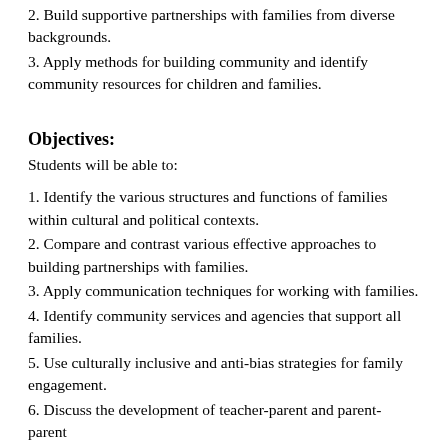2. Build supportive partnerships with families from diverse backgrounds.
3. Apply methods for building community and identify community resources for children and families.
Objectives:
Students will be able to:
1. Identify the various structures and functions of families within cultural and political contexts.
2. Compare and contrast various effective approaches to building partnerships with families.
3. Apply communication techniques for working with families.
4. Identify community services and agencies that support all families.
5. Use culturally inclusive and anti-bias strategies for family engagement.
6. Discuss the development of teacher-parent and parent-parent